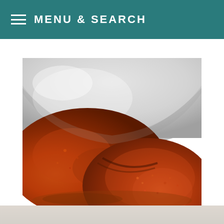MENU & SEARCH
[Figure (photo): Close-up photo of spice-coated chicken pieces inside a white pot or bowl, showing reddish-brown spice rub on the meat surface]